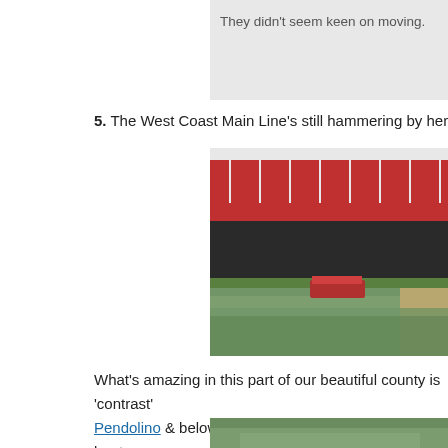They didn't seem keen on moving.
5. The West Coast Main Line's still hammering by here & we ne
[Figure (photo): A red railway bridge crossing a canal, with a narrowboat visible below and tree-lined towpath.]
What's amazing in this part of our beautiful county is 'contrast' – above we have a Pendolino & below we have a max 4 mph canal boat…
[Figure (photo): Partially visible photo of a green tree-lined canal scene at the bottom of the page, cropped.]